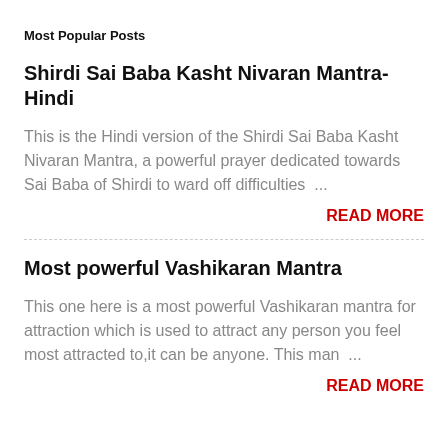Most Popular Posts
Shirdi Sai Baba Kasht Nivaran Mantra-Hindi
This is the Hindi version of the Shirdi Sai Baba Kasht Nivaran Mantra, a powerful prayer dedicated towards Sai Baba of Shirdi to ward off difficulties ...
READ MORE
Most powerful Vashikaran Mantra
This one here is a most powerful Vashikaran mantra for attraction which is used to attract any person you feel most attracted to,it can be anyone. This man ...
READ MORE